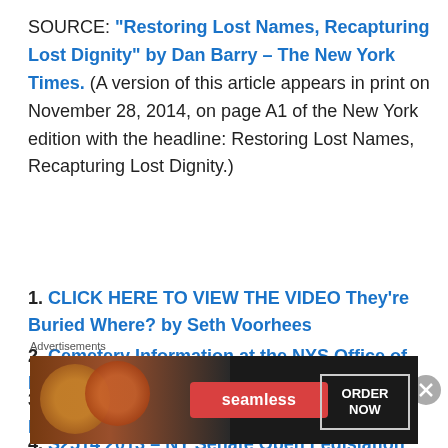SOURCE: "Restoring Lost Names, Recapturing Lost Dignity" by Dan Barry – The New York Times. (A version of this article appears in print on November 28, 2014, on page A1 of the New York edition with the headline: Restoring Lost Names, Recapturing Lost Dignity.)
1. CLICK HERE TO VIEW THE VIDEO They're Buried Where? by Seth Voorhees
2. Cemetery Information at the NYS Office of Mental Health
3. New York State Hospitals, Custodial Institutions & Cemetery Projects.
4. S2514 2013 – NY Senate Open Legislation – Delete...
[Figure (screenshot): Advertisement banner for Seamless food delivery service showing pizza and ORDER NOW button]